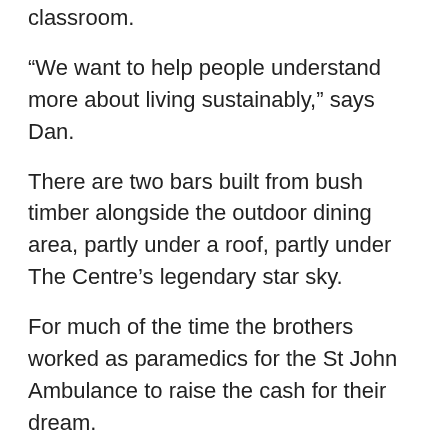classroom.
“We want to help people understand more about living sustainably,” says Dan.
There are two bars built from bush timber alongside the outdoor dining area, partly under a roof, partly under The Centre’s legendary star sky.
For much of the time the brothers worked as paramedics for the St John Ambulance to raise the cash for their dream.
And like all they touch it turned to gold: Their often dangerous, sometimes distressing work in the streets of Alice Springs was turned into a documentary for the Nine Network.
It has already had an audience of more than a million, says